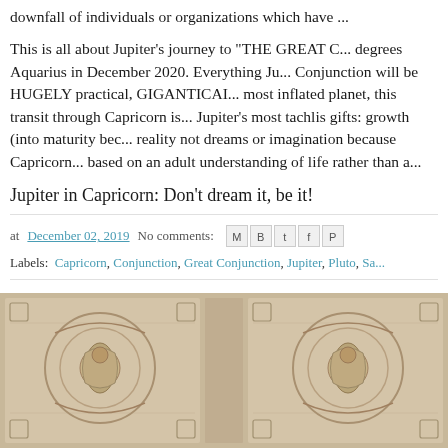downfall of individuals or organizations which have ...
This is all about Jupiter's journey to "THE GREAT C... degrees Aquarius in December 2020. Everything Ju... Conjunction will be HUGELY practical, GIGANTICAI... most inflated planet, this transit through Capricorn is... Jupiter's most tachlis gifts: growth (into maturity bec... reality not dreams or imagination because Capricorn... based on an adult understanding of life rather than a...
Jupiter in Capricorn: Don't dream it, be it!
at December 02, 2019   No comments:
Labels: Capricorn, Conjunction, Great Conjunction, Jupiter, Pluto, Sa...
[Figure (illustration): Decorative background image showing vintage zodiac/astrological mosaic illustrations in muted beige/tan tones, repeated across bottom of page]